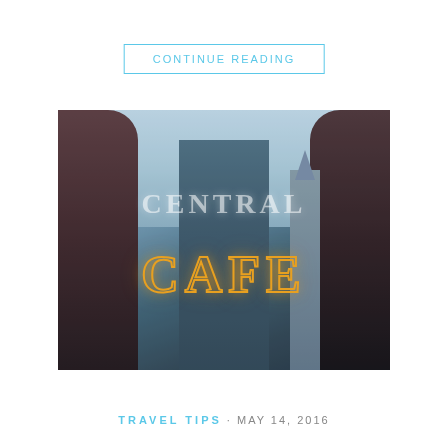CONTINUE READING
[Figure (photo): Urban cityscape photo seen through a cafe window reflection, showing skyscrapers including the Chrysler Building. Overlaid with semi-transparent text reading 'CENTRAL CAFE' in neon/illuminated style lettering.]
TRAVEL TIPS · MAY 14, 2016